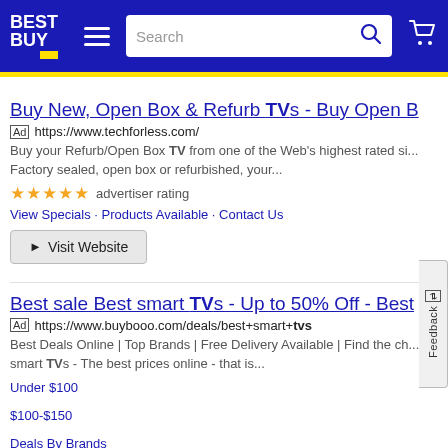[Figure (screenshot): Best Buy website header with logo, hamburger menu, search bar, and cart icon on dark blue background]
Buy New, Open Box & Refurb TVs - Buy Open B
[Ad] https://www.techforless.com/
Buy your Refurb/Open Box TV from one of the Web's highest rated si... Factory sealed, open box or refurbished, your...
★★★★★ advertiser rating
View Specials · Products Available · Contact Us
► Visit Website
Best sale Best smart TVs - Up to 50% Off - Best
[Ad] https://www.buybooo.com/deals/best+smart+tvs
Best Deals Online | Top Brands | Free Delivery Available | Find the ch... smart TVs - The best prices online - that is...
Under $100
$100-$150
Deals By Brands
Deals By Price